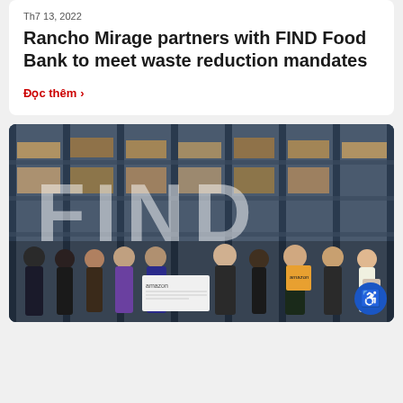Th7 13, 2022
Rancho Mirage partners with FIND Food Bank to meet waste reduction mandates
Đọc thêm >
[Figure (photo): Group of people posing inside a FIND Food Bank warehouse, holding an Amazon check and boxes, with large FIND letters visible in the background on warehouse shelving.]